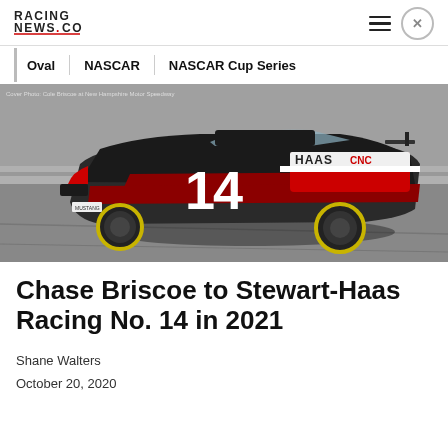RacingNews.co
Oval | NASCAR | NASCAR Cup Series
[Figure (photo): NASCAR Cup Series car number 14, the Haas CNC machine Ford Mustang driven by Cole Custer (later Chase Briscoe), in dark black and red livery on a speedway track. Caption reads: Cover Photo: Cole Briscoe at New Hampshire Motor Speedway]
Chase Briscoe to Stewart-Haas Racing No. 14 in 2021
Shane Walters
October 20, 2020